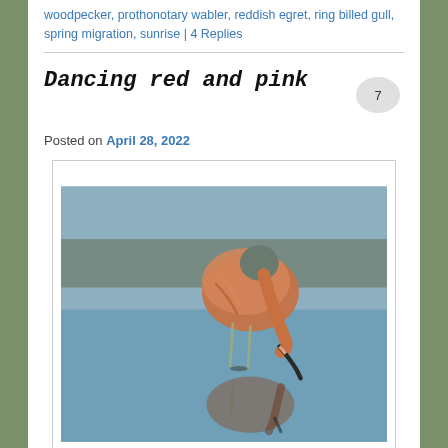woodpecker, prothonotary wabler, reddish egret, ring billed gull, spring migration, sunrise | 4 Replies
Dancing red and pink
Posted on April 28, 2022
[Figure (photo): A reddish egret bird standing in shallow blue water, bending its neck downward toward the water, with its reflection visible below. The bird has orange-pink plumage on its body and a dark beak.]